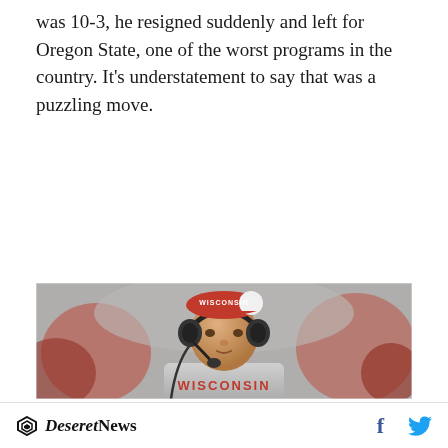was 10-3, he resigned suddenly and left for Oregon State, one of the worst programs in the country. It's understatement to say that was a puzzling move.
[Figure (photo): A football coach wearing a Wisconsin Badgers red visor cap and gray Wisconsin hoodie sweatshirt, wearing a coaching headset with microphone, on the sideline during a game. Background shows blurred red-uniformed players.]
Deseret News [facebook icon] [twitter icon]